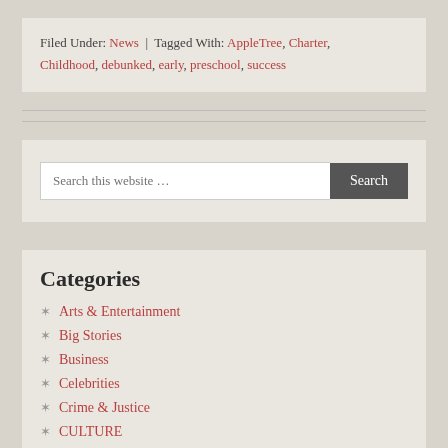Filed Under: News | Tagged With: AppleTree, Charter, Childhood, debunked, early, preschool, success
[Figure (screenshot): Search bar with placeholder text 'Search this website ...' and a Search button]
Categories
Arts & Entertainment
Big Stories
Business
Celebrities
Crime & Justice
CULTURE
ENTERTAINMENT